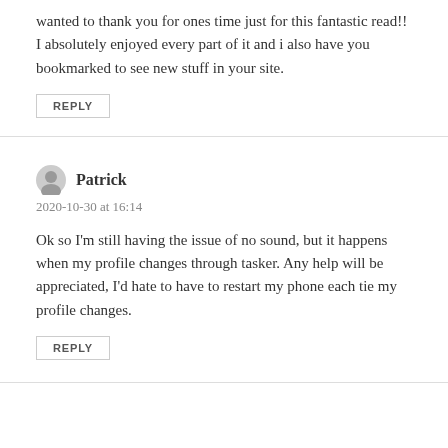wanted to thank you for ones time just for this fantastic read!! I absolutely enjoyed every part of it and i also have you bookmarked to see new stuff in your site.
REPLY
Patrick
2020-10-30 at 16:14
Ok so I'm still having the issue of no sound, but it happens when my profile changes through tasker. Any help will be appreciated, I'd hate to have to restart my phone each tie my profile changes.
REPLY